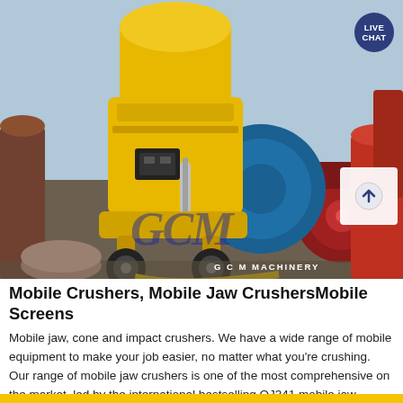[Figure (photo): Photograph of a large yellow cone crusher machine (GCM Machinery) surrounded by other industrial machinery including blue and red equipment in an outdoor yard. A 'LIVE CHAT' badge appears in the top right corner and a scroll-up button is overlaid on the lower right of the image.]
Mobile Crushers, Mobile Jaw CrushersMobile Screens
Mobile jaw, cone and impact crushers. We have a wide range of mobile equipment to make your job easier, no matter what you're crushing. Our range of mobile jaw crushers is one of the most comprehensive on the market, led by the international bestselling QJ341 mobile jaw crusher.